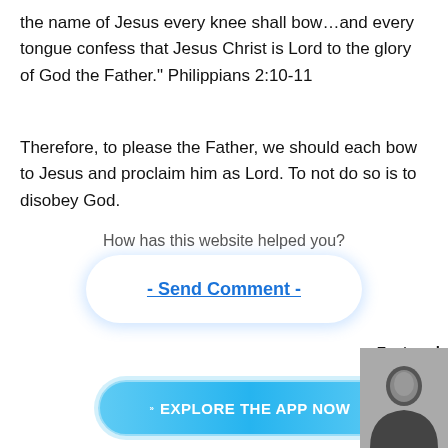the name of Jesus every knee shall bow…and every tongue confess that Jesus Christ is Lord to the glory of God the Father." Philippians 2:10-11
Therefore, to please the Father, we should each bow to Jesus and proclaim him as Lord. To not do so is to disobey God.
How has this website helped you?
[Figure (other): A rounded button/widget with the text '- Send Comment -' as a hyperlink]
Featured Videos
[Figure (illustration): A cyan/blue rounded button with chevron icon and text 'EXPLORE THE APP NOW']
[Figure (photo): A thumbnail image showing a person speaking, partially visible at bottom right]